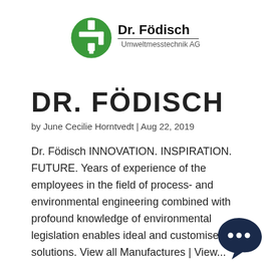[Figure (logo): Dr. Födisch Umweltmesstechnik AG logo — green circle with stylized pipe fitting icon on left, text 'Dr. Födisch' in large bold black font and 'Umweltmesstechnik AG' in grey below, separated by a horizontal line]
DR. FÖDISCH
by June Cecilie Horntvedt | Aug 22, 2019
Dr. Födisch INNOVATION. INSPIRATION. FUTURE. Years of experience of the employees in the field of process- and environmental engineering combined with profound knowledge of environmental legislation enables ideal and customised solutions. View all Manufactures | View...
[Figure (illustration): Dark navy blue chat bubble icon with three dots (ellipsis) inside, positioned at bottom right corner]